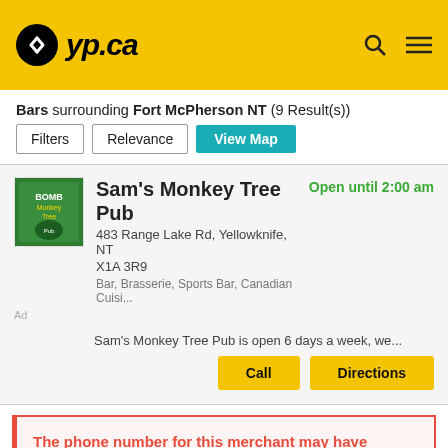[Figure (logo): yp.ca yellow pages logo with search and menu icons]
Bars surrounding Fort McPherson NT (9 Result(s))
Filters | Relevance | View Map
Sam's Monkey Tree Pub
483 Range Lake Rd, Yellowknife, NT
X1A 3R9
Bar, Brasserie, Sports Bar, Canadian Cuisi...
Open until 2:00 am
Ad
Sam's Monkey Tree Pub is open 6 days a week, we...
The phone number for this merchant may have changed recently
Ice Breaker Lounge
Opening at 5:00 pm